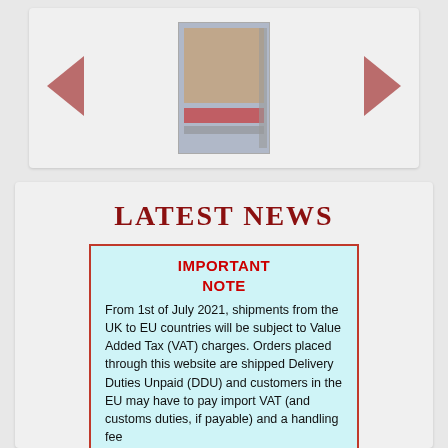[Figure (illustration): Website carousel section showing a book cover in the center with left and right navigation arrows on a light gray background]
LATEST NEWS
IMPORTANT NOTE
From 1st of July 2021, shipments from the UK to EU countries will be subject to Value Added Tax (VAT) charges. Orders placed through this website are shipped Delivery Duties Unpaid (DDU) and customers in the EU may have to pay import VAT (and customs duties, if payable) and a handling fee